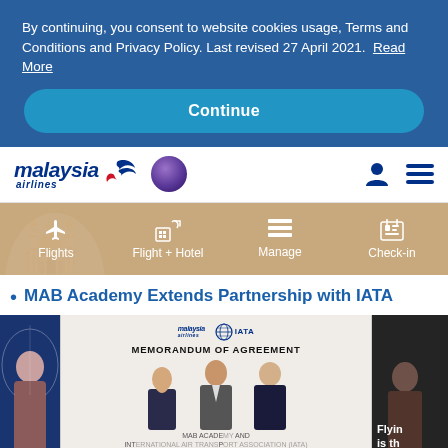By continuing, you consent to website cookies usage, Terms and Conditions and Privacy Policy. Last revised 27 April 2021. Read More
Continue
[Figure (logo): Malaysia Airlines logo with stylized bird and 'malaysia airlines' text in dark blue, plus oneworld alliance badge]
[Figure (infographic): Navigation menu bar with tan/beige background showing four options: Flights, Flight + Hotel, Manage, Check-in with corresponding icons]
MAB Academy Extends Partnership with IATA
[Figure (photo): Photo showing Memorandum of Agreement signing between MAB Academy and IATA, with people posing in front of a document display]